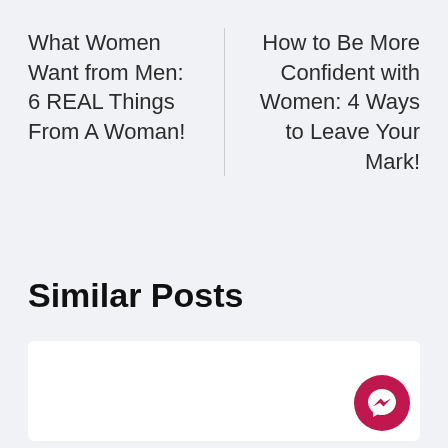What Women Want from Men: 6 REAL Things From A Woman!
How to Be More Confident with Women: 4 Ways to Leave Your Mark!
Similar Posts
[Figure (other): White card area for similar posts with a pink Facebook Messenger button in the bottom right corner]